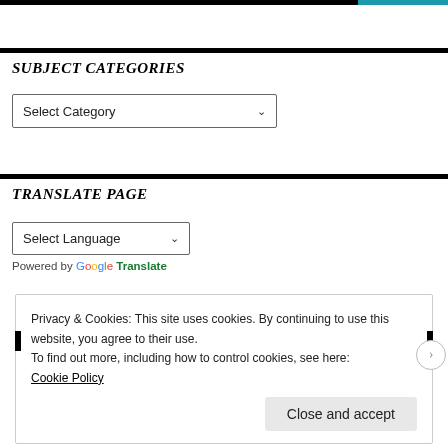SUBJECT CATEGORIES
[Figure (screenshot): Dropdown selector labeled 'Select Category' with a chevron arrow]
TRANSLATE PAGE
[Figure (screenshot): Dropdown selector labeled 'Select Language' with a chevron arrow, and 'Powered by Google Translate' text below]
Privacy & Cookies: This site uses cookies. By continuing to use this website, you agree to their use. To find out more, including how to control cookies, see here: Cookie Policy
Close and accept